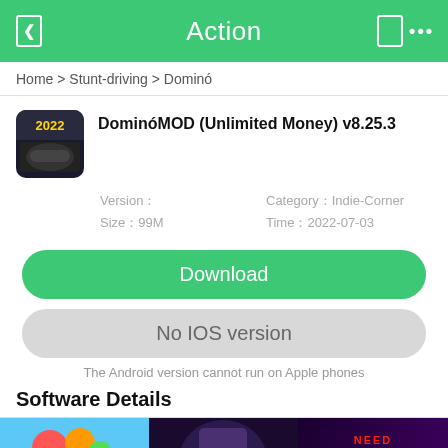Action
Home > Stunt-driving > Dominó
DominóMOD (Unlimited Money) v8.25.3
Version：　　　　　　　Category：Indie-Corner
Size：99M　　　　　　　Time：2022-07-03
Download
No IOS version
The Android version cannot run on Apple phones
Software Details
[Figure (screenshot): Three app thumbnails at bottom of page: a bubble shooter game, an anime character art, and Need for Speed game]